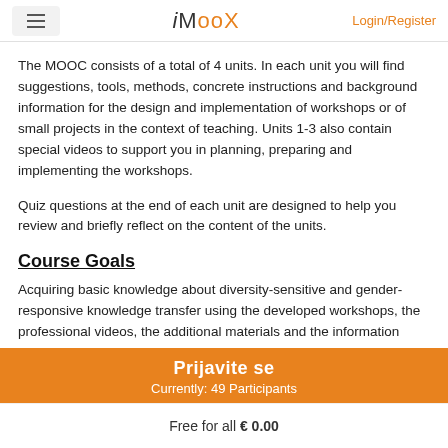iMooX  Login/Register
The MOOC consists of a total of 4 units. In each unit you will find suggestions, tools, methods, concrete instructions and background information for the design and implementation of workshops or of small projects in the context of teaching. Units 1-3 also contain special videos to support you in planning, preparing and implementing the workshops.
Quiz questions at the end of each unit are designed to help you review and briefly reflect on the content of the units.
Course Goals
Acquiring basic knowledge about diversity-sensitive and gender-responsive knowledge transfer using the developed workshops, the professional videos, the additional materials and the information provided.
Prijavite se
Currently: 49 Participants
Free for all € 0.00